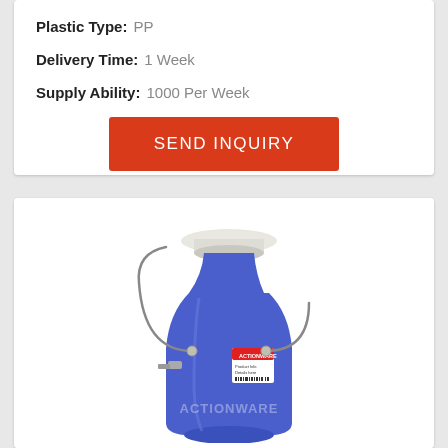Plastic Type: PP
Delivery Time: 1 Week
Supply Ability: 1000 Per Week
SEND INQUIRY
[Figure (photo): Blue plastic milk can/canister with white lid and metal wire handle, branded with ACTIONWARE logo and label on the front.]